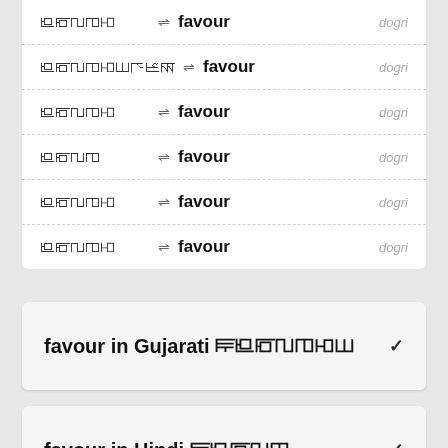ꢀꢁꢂꢃꢄ ⇌ favour — dogri
ꢀꢁꢂꢃꢄꢅꢆꢇꢈ ⇌ favour — dogri
ꢀꢁꢂꢃꢄ ⇌ favour — dogri
ꢀꢁꢂꢃ ⇌ favour — dogri
ꢀꢁꢂꢃꢄ ⇌ favour — dogri
ꢀꢁꢂꢃꢄ ⇌ favour — dogri
favour in Gujarati ꢀꢁꢂꢃꢄꢅꢆ
favour in Hindi ꢀꢁꢂꢃꢄ